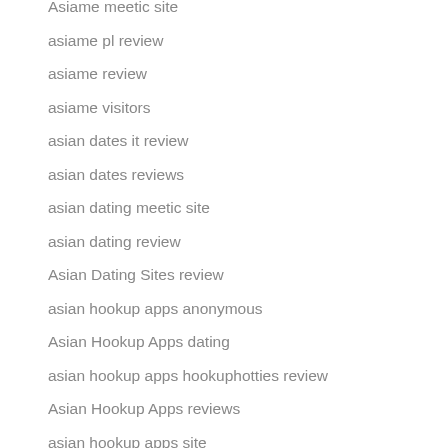Asiame meetic site
asiame pl review
asiame review
asiame visitors
asian dates it review
asian dates reviews
asian dating meetic site
asian dating review
Asian Dating Sites review
asian hookup apps anonymous
Asian Hookup Apps dating
asian hookup apps hookuphotties review
Asian Hookup Apps reviews
asian hookup apps site
asiandate revisi?n